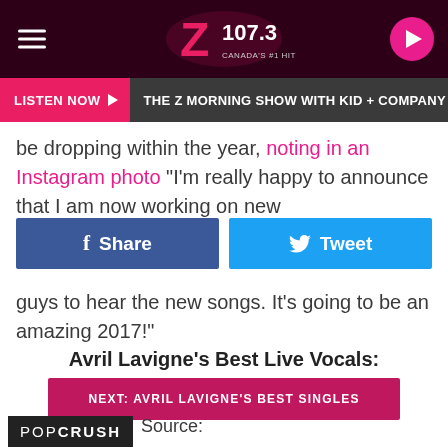Z107.3 — THE Z MORNING SHOW WITH KID + COMPANY — LISTEN NOW
be dropping within the year, noting in an Instagram photo "I'm really happy to announce that I am now working on new
Share | Tweet
guys to hear the new songs. It's going to be an amazing 2017!"
Avril Lavigne's Best Live Vocals:
NEXT: AVRIL LAVIGNE'S BEST SINGLES
POPCRUSH Source: Avril Lavigne Says New Album Will Be Here 'Before You Know It'